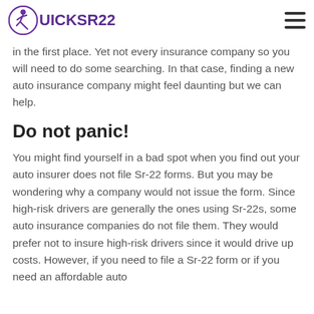QuickSR22
in the first place. Yet not every insurance company so you will need to do some searching. In that case, finding a new auto insurance company might feel daunting but we can help.
Do not panic!
You might find yourself in a bad spot when you find out your auto insurer does not file Sr-22 forms. But you may be wondering why a company would not issue the form. Since high-risk drivers are generally the ones using Sr-22s, some auto insurance companies do not file them. They would prefer not to insure high-risk drivers since it would drive up costs. However, if you need to file a Sr-22 form or if you need an affordable auto